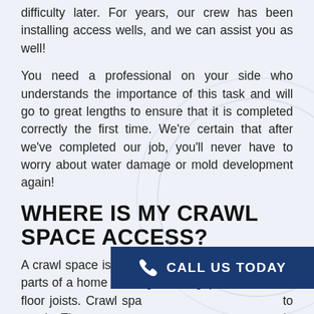difficulty later. For years, our crew has been installing access wells, and we can assist you as well!
You need a professional on your side who understands the importance of this task and will go to great lengths to ensure that it is completed correctly the first time. We're certain that after we've completed our job, you'll never have to worry about water damage or mold development again!
WHERE IS MY CRAWL SPACE ACCESS?
A crawl space is a low level underneath the living parts of a home with significant gaps between the floor joists. Crawl spa... to reach. The most ty... in your house is the crawl area. This makes it one of
[Figure (other): Dark blue call-to-action button with phone icon and text 'CALL US TODAY']